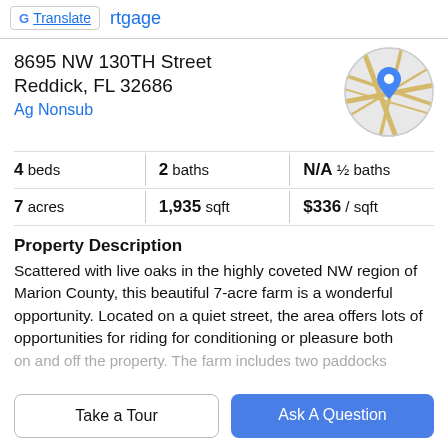G Translate | rtgage
8695 NW 130TH Street
Reddick, FL 32686
Ag Nonsub
[Figure (map): Circular map thumbnail with a blue location pin marker showing the property location on a street map with yellow roads on grey background.]
4 beds | 2 baths | N/A ½ baths
7 acres | 1,935 sqft | $336 / sqft
Property Description
Scattered with live oaks in the highly coveted NW region of Marion County, this beautiful 7-acre farm is a wonderful opportunity. Located on a quiet street, the area offers lots of opportunities for riding for conditioning or pleasure both on and off the property. The farm includes two paddocks
Take a Tour
Ask A Question